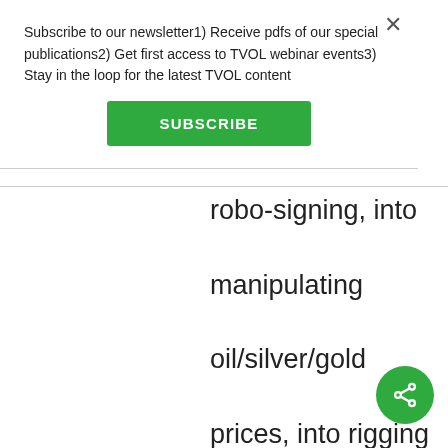Subscribe to our newsletter1) Receive pdfs of our special publications2) Get first access to TVOL webinar events3) Stay in the loop for the latest TVOL content
SUBSCRIBE
robo-signing, into manipulating oil/silver/gold prices, into rigging foreign exchange rates/Libor/Eurobor and the list goes on...